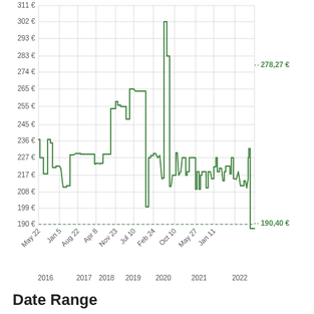[Figure (continuous-plot): A step/line chart showing price in euros over time from May 2016 to mid-2022. The y-axis shows prices from 190€ to 311€. The x-axis shows dates: May 22, Jan 5, Aug 22, Apr 8, Nov 23, Jul 10, Feb 24, Oct 10, May 27, Jan 11 with year labels 2016, 2017, 2018, 2019, 2020, 2021, 2022. The line is green, showing considerable volatility especially in 2020-2022. Current value annotated as 278,27€ and minimum as 190,40€.]
Date Range